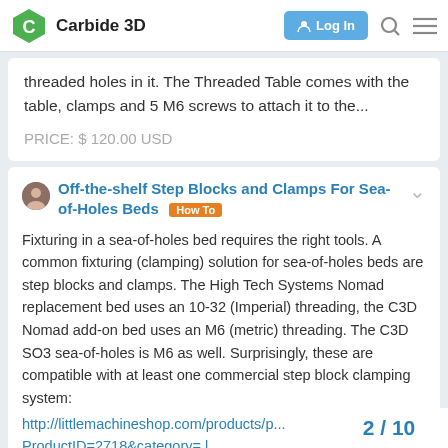Carbide 3D — Log In
threaded holes in it. The Threaded Table comes with the table, clamps and 5 M6 screws to attach it to the...
PRICE: $ 120.00 USD
Off-the-shelf Step Blocks and Clamps For Sea-of-Holes Beds  How To
Fixturing in a sea-of-holes bed requires the right tools. A common fixturing (clamping) solution for sea-of-holes beds are step blocks and clamps. The High Tech Systems Nomad replacement bed uses an 10-32 (Imperial) threading, the C3D Nomad add-on bed uses an M6 (metric) threading. The C3D SO3 sea-of-holes is M6 as well. Surprisingly, these are compatible with at least one commercial step block clamping system:
http://littlemachineshop.com/products/p... ProductID=2718&category= l...
2 / 10